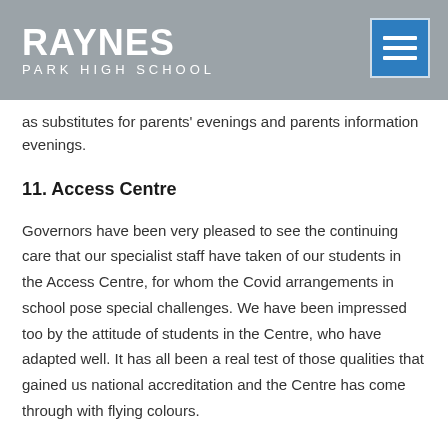RAYNES PARK HIGH SCHOOL
as substitutes for parents' evenings and parents information evenings.
11. Access Centre
Governors have been very pleased to see the continuing care that our specialist staff have taken of our students in the Access Centre, for whom the Covid arrangements in school pose special challenges. We have been impressed too by the attitude of students in the Centre, who have adapted well. It has all been a real test of those qualities that gained us national accreditation and the Centre has come through with flying colours.